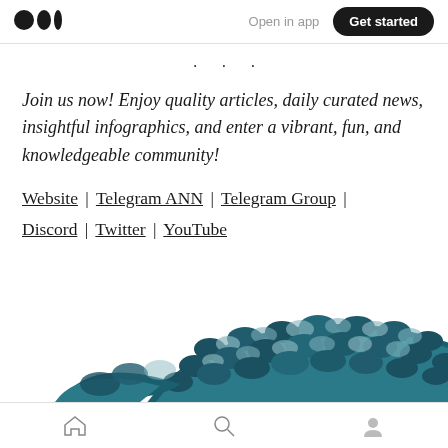Open in app | Get started
· · ·
Join us now! Enjoy quality articles, daily curated news, insightful infographics, and enter a vibrant, fun, and knowledgeable community!
Website | Telegram ANN | Telegram Group | Discord | Twitter | YouTube
[Figure (illustration): Partial illustration of a stylized creature or character with teal/dark teal patterned domed top, visible at the bottom of the page]
Home | Search | Profile (bottom navigation icons)